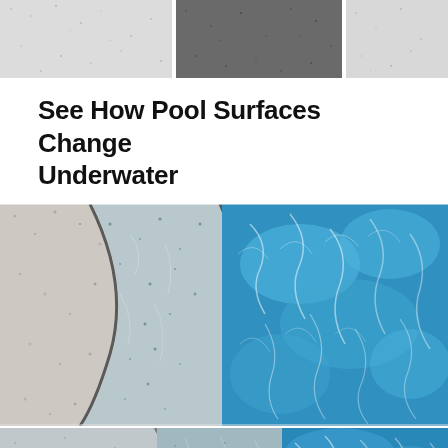[Figure (photo): Three texture swatches of pool surface materials shown side by side: light speckled white aggregate on left, dark charcoal aggregate in middle, and light off-white aggregate on right.]
See How Pool Surfaces Change Underwater
[Figure (photo): Pool surface material shown both dry and submerged underwater. Left portion shows dry speckled white/grey aggregate texture, transitioning through a curved waterline to clear blue water on the right where the same texture appears turquoise and shimmering with light refraction patterns.]
[Figure (photo): Partial view of another pool surface material at the waterline, showing light blue-grey aggregate transitioning into bright blue water with light ripples, cropped at the bottom of the page.]